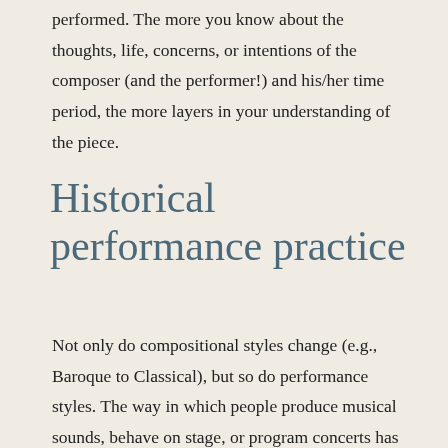performed. The more you know about the thoughts, life, concerns, or intentions of the composer (and the performer!) and his/her time period, the more layers in your understanding of the piece.
Historical performance practice
Not only do compositional styles change (e.g., Baroque to Classical), but so do performance styles. The way in which people produce musical sounds, behave on stage, or program concerts has changed significantly over time as tastes change, new ideas come to light, and the technology of